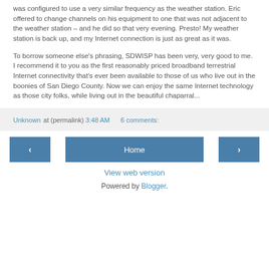was configured to use a very similar frequency as the weather station. Eric offered to change channels on his equipment to one that was not adjacent to the weather station – and he did so that very evening. Presto! My weather station is back up, and my Internet connection is just as great as it was.
To borrow someone else's phrasing, SDWISP has been very, very good to me. I recommend it to you as the first reasonably priced broadband terrestrial Internet connectivity that's ever been available to those of us who live out in the boonies of San Diego County. Now we can enjoy the same Internet technology as those city folks, while living out in the beautiful chaparral...
Unknown at (permalink) 3:48 AM   6 comments:
◄   Home   ►
View web version
Powered by Blogger.